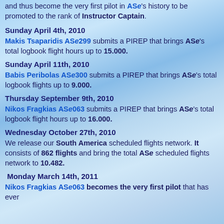and thus become the very first pilot in ASe's history to be promoted to the rank of Instructor Captain.
Sunday April 4th, 2010
Makis Tsaparidis ASe299 submits a PIREP that brings ASe's total logbook flight hours up to 15.000.
Sunday April 11th, 2010
Babis Peribolas ASe300 submits a PIREP that brings ASe's total logbook flights up to 9.000.
Thursday September 9th, 2010
Nikos Fragkias ASe063 submits a PIREP that brings ASe's total logbook flight hours up to 16.000.
Wednesday October 27th, 2010
We release our South America scheduled flights network. It consists of 862 flights and bring the total ASe scheduled flights network to 10.482.
Monday March 14th, 2011
Nikos Fragkias ASe063 becomes the very first pilot that has ever